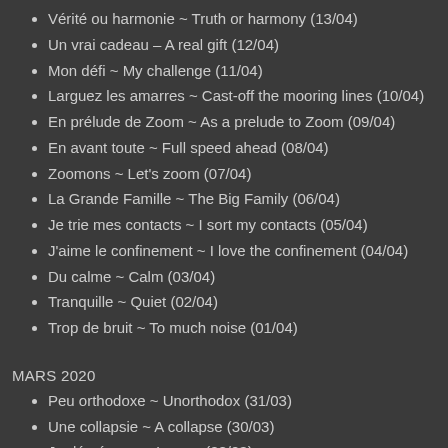Vérité ou harmonie ~ Truth or harmony (13/04)
Un vrai cadeau – A real gift (12/04)
Mon défi ~ My challenge (11/04)
Larguez les amarres ~ Cast-off the mooring lines (10/04)
En prélude de Zoom ~ As a prelude to Zoom (09/04)
En avant toute ~ Full speed ahead (08/04)
Zoomons ~ Let's zoom (07/04)
La Grande Famille ~ The Big Family (06/04)
Je trie mes contacts ~ I sort my contacts (05/04)
J'aime le confinement ~ I love the confinement (04/04)
Du calme ~ Calm (03/04)
Tranquille ~ Quiet (02/04)
Trop de bruit ~ To much noise (01/04)
MARS 2020
Peu orthodoxe ~ Unorthodox (31/03)
Une collapsie ~ A collapse (30/03)
Je déménage ~ I move (28/03)